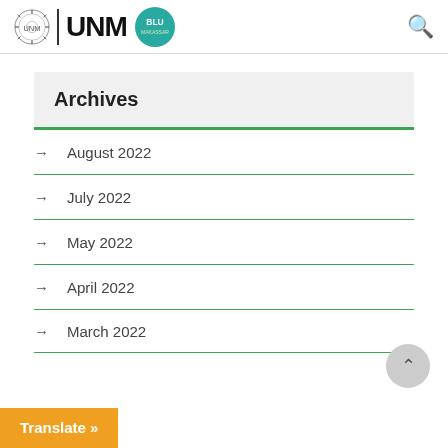[Figure (logo): UNM university logo with emblem, UNM text, and BLU badge, plus search icon]
Archives
August 2022
July 2022
May 2022
April 2022
March 2022
Translate »